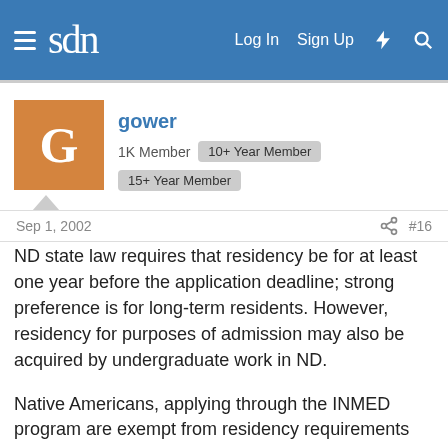sdn | Log In | Sign Up
gower
1K Member  10+ Year Member  15+ Year Member
Sep 1, 2002  #16
ND state law requires that residency be for at least one year before the application deadline; strong preference is for long-term residents. However, residency for purposes of admission may also be acquired by undergraduate work in ND.
Native Americans, applying through the INMED program are exempt from residency requirements provided they are enrolled in a a federally recognized Indian tribe.
Other than Native Americans, only WICHE (Western Interstate Commission on Higher Education) students (from western states without a medical school) and a few Minnesota residents with ties to the Red River Valley in far eastern ND get any